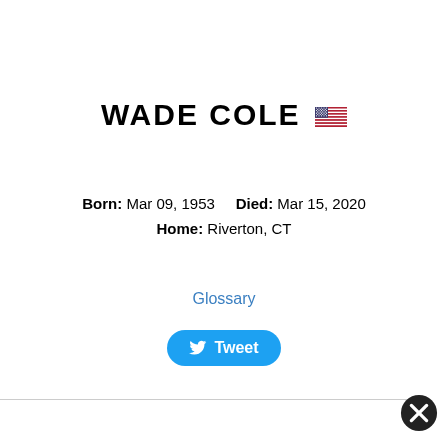WADE COLE 🇺🇸
Born: Mar 09, 1953    Died: Mar 15, 2020
Home: Riverton, CT
Glossary
Tweet